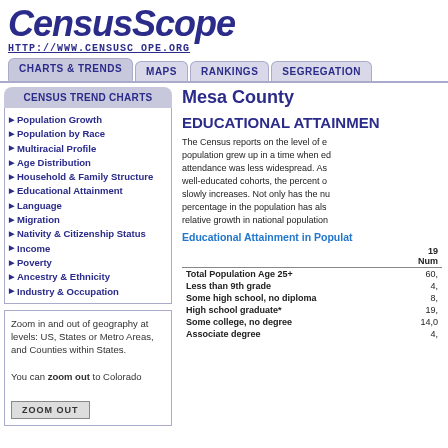CensusScope
HTTP://WWW.CENSUSC COPE.ORG
CHARTS & TRENDS | MAPS | RANKINGS | SEGREGATION
CENSUS TREND CHARTS
Population Growth
Population by Race
Multiracial Profile
Age Distribution
Household & Family Structure
Educational Attainment
Language
Migration
Nativity & Citizenship Status
Income
Poverty
Ancestry & Ethnicity
Industry & Occupation
Zoom in and out of geography at levels: US, States or Metro Areas, and Counties within States.

You can zoom out to Colorado

[ ZOOM OUT ]
Mesa County
EDUCATIONAL ATTAINMEN
The Census reports on the level of e... population grew up in a time when ed... attendance was less widespread. As... well-educated cohorts, the percent o... slowly increases. Not only has the nu... percentage in the population has als... relative growth in national population...
Educational Attainment in Populat...
|  | 19 | Num |
| --- | --- | --- |
| Total Population Age 25+ | 60, |
| Less than 9th grade | 4, |
| Some high school, no diploma | 8, |
| High school graduate* | 19, |
| Some college, no degree | 14,0 |
| Associate degree | 4, |